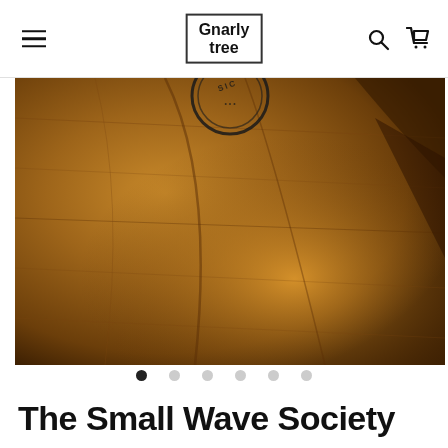Gnarly Tree — navigation header with hamburger menu, logo, search and cart icons
[Figure (photo): Close-up photo of a person wearing a mustard/golden yellow t-shirt with a circular logo/graphic on the chest. The fabric texture and folds are visible.]
Carousel dot navigation — 6 dots, first dot active
The Small Wave Society